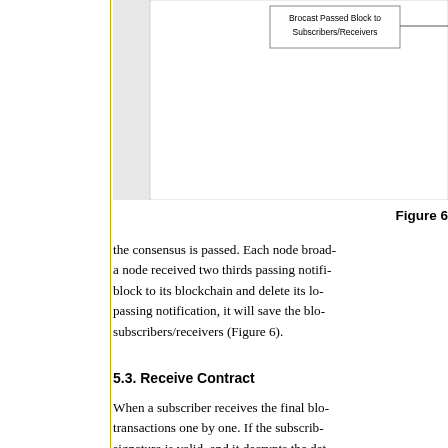[Figure (flowchart): Partial flowchart diagram showing a 'Brocast Passed Block to Subscribers/Receivers' box, partially visible at top right of the figure area.]
Figure 6
the consensus is passed. Each node broad- a node received two thirds passing notifi- block to its blockchain and delete its lo- passing notification, it will save the blo- subscribers/receivers (Figure 6).
5.3. Receive Contract
When a subscriber receives the final blo- transactions one by one. If the subscrib- signature is valid, and it decrypts the dat- process this transaction according to its p- the first data decryption failed, the spec- data. If the second decryption is success- group. If both decryptions failed, this t- controller, it can decrypt the transaction-